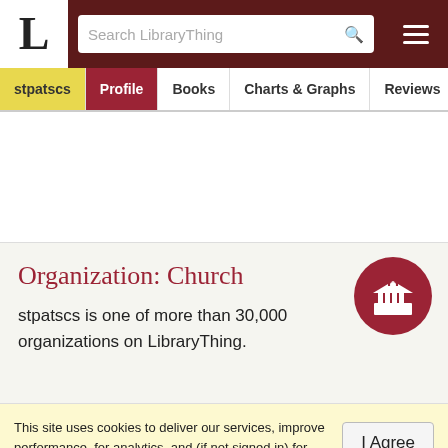LibraryThing — Search LibraryThing
stpatscs | Profile | Books | Charts & Graphs | Reviews
Organization: Church
stpatscs is one of more than 30,000 organizations on LibraryThing.
This site uses cookies to deliver our services, improve performance, for analytics, and (if not signed in) for advertising. By using LibraryThing you acknowledge that you have read and understand our Terms of Service and Privacy Policy. Your use of the site and services is subject to these policies and terms.